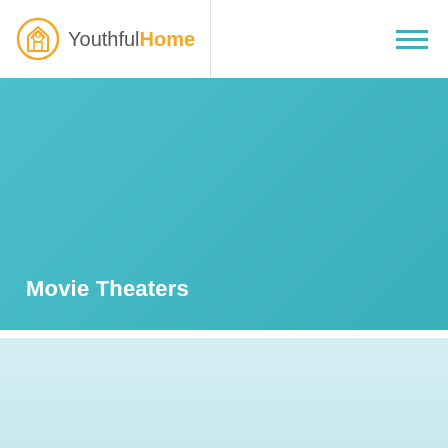YouthfulHome
Movie Theaters
[Figure (other): Light blue gradient section below the teal banner]